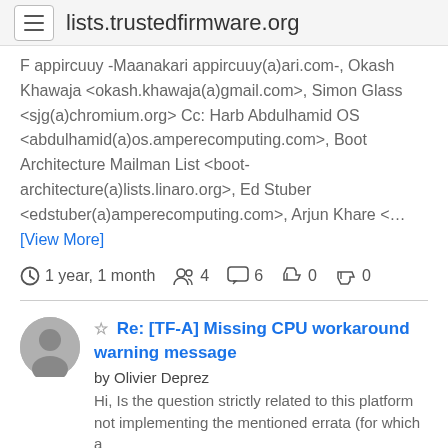lists.trustedfirmware.org
F appircuuy -Maanakari appircuuy(a)ari.com-, Okash Khawaja <okash.khawaja(a)gmail.com>, Simon Glass <sjg(a)chromium.org> Cc: Harb Abdulhamid OS <abdulhamid(a)os.amperecomputing.com>, Boot Architecture Mailman List <boot-architecture(a)lists.linaro.org>, Ed Stuber <edstuber(a)amperecomputing.com>, Arjun Khare <... [View More]
1 year, 1 month  4  6  0  0
Re: [TF-A] Missing CPU workaround warning message by Olivier Deprez Hi, Is the question strictly related to this platform not implementing the mentioned errata (for which a